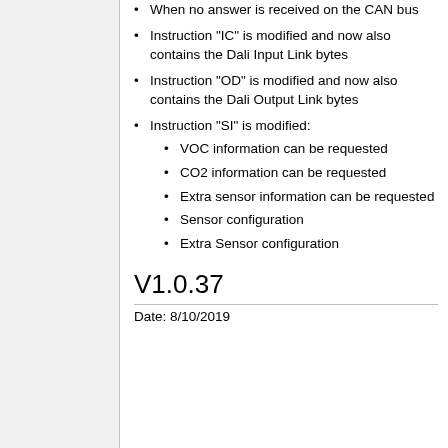When no answer is received on the CAN bus
Instruction "IC" is modified and now also contains the Dali Input Link bytes
Instruction "OD" is modified and now also contains the Dali Output Link bytes
Instruction "SI" is modified:
VOC information can be requested
CO2 information can be requested
Extra sensor information can be requested
Sensor configuration
Extra Sensor configuration
V1.0.37
Date: 8/10/2019